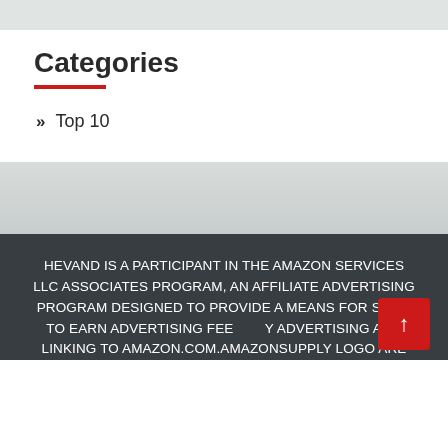Categories
Top 10
HEVAND IS A PARTICIPANT IN THE AMAZON SERVICES LLC ASSOCIATES PROGRAM, AN AFFILIATE ADVERTISING PROGRAM DESIGNED TO PROVIDE A MEANS FOR SITES TO EARN ADVERTISING FEES BY ADVERTISING AND LINKING TO AMAZON.COM.AMAZONSUPPLY LOGO ARE